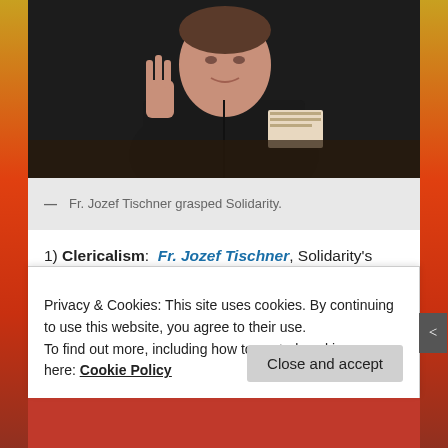[Figure (photo): Photo of Fr. Jozef Tischner, a priest in dark jacket making a gesture with his hand, holding papers]
— Fr. Jozef Tischner grasped Solidarity.
1) Clericalism: Fr. Jozef Tischner, Solidarity's chaplain, Poland's leading phenomenologist, spent the better part of his life fighting against Polish clericalism. The writings Poland's leading literary figures, world class writers such as Witold Gombrowicz (atheist) and Czeslaw Milosz
Privacy & Cookies: This site uses cookies. By continuing to use this website, you agree to their use.
To find out more, including how to control cookies, see here: Cookie Policy